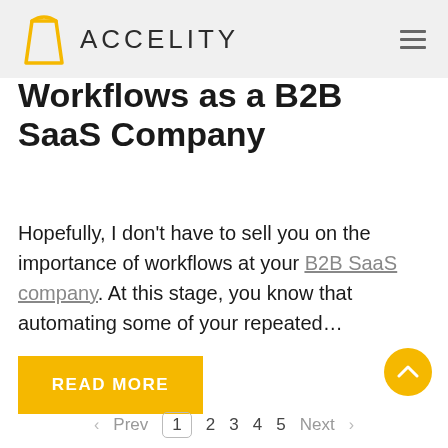ACCELITY
Workflows as a B2B SaaS Company
Hopefully, I don't have to sell you on the importance of workflows at your B2B SaaS company. At this stage, you know that automating some of your repeated…
READ MORE
< Prev  1  2  3  4  5  Next >